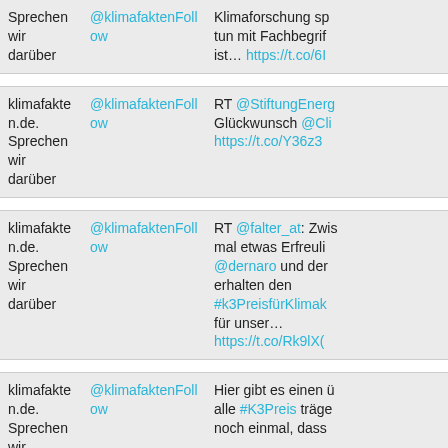| klimafakten.de.
Sprechen wir darüber | @klimafaktenFollow | Klimaforschung sp... tun mit Fachbegrif... ist... https://t.co/6I |
| klimafakten.de.
Sprechen wir darüber | @klimafaktenFollow | RT @StiftungEnerg... Glückwunsch @Cli... https://t.co/Y36z3 |
| klimafakten.de.
Sprechen wir darüber | @klimafaktenFollow | RT @falter_at: Zwis... mal etwas Erfreuli... @dernaro und der... erhalten den #k3PreisfürKlimak... für unser... https://t.co/Rk9lX( |
| klimafakten.de.
Sprechen wir | @klimafaktenFollow | Hier gibt es einen ü... alle #K3Preis träge... noch einmal, dass |